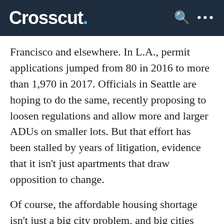Crosscut.
Francisco and elsewhere. In L.A., permit applications jumped from 80 in 2016 to more than 1,970 in 2017. Officials in Seattle are hoping to do the same, recently proposing to loosen regulations and allow more and larger ADUs on smaller lots. But that effort has been stalled by years of litigation, evidence that it isn’t just apartments that draw opposition to change.
Of course, the affordable housing shortage isn’t just a big city problem, and big cities aren’t the only ones trying to boost their di…